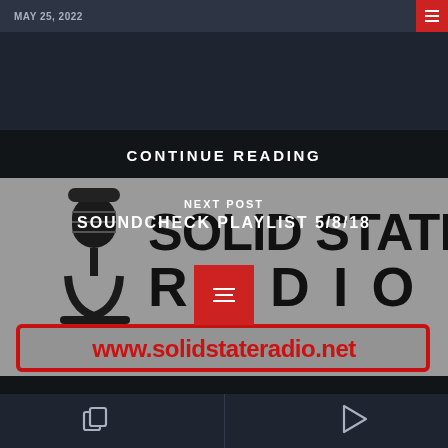MAY 25, 2022
CONTINUE READING
NEXT POST
SOUNDCHECK PLAYLIST 5/8/18
[Figure (logo): Solid State Radio logo with microphone graphic and www.solidstateradio.net banner in red border]